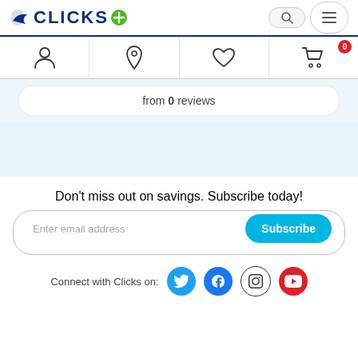[Figure (screenshot): Clicks pharmacy website header with logo, search bar, hamburger menu, navigation icons (person, location pin, heart, shopping cart with 0 badge), a reviews pill showing 'from 0 reviews', a blue section, a subscribe email form, and social media icons for Twitter, Facebook, Instagram, YouTube.]
from 0 reviews
Don't miss out on savings. Subscribe today!
Enter email address
Subscribe
Connect with Clicks on: